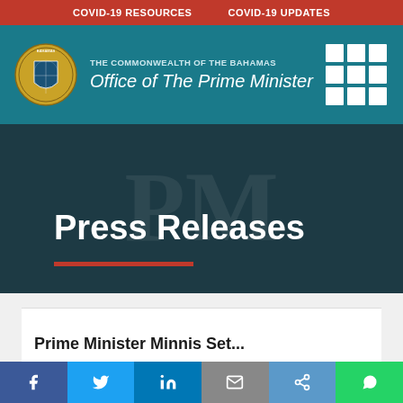COVID-19 RESOURCES   COVID-19 UPDATES
[Figure (logo): The Commonwealth of The Bahamas coat of arms seal logo]
THE COMMONWEALTH OF THE BAHAMAS Office of The Prime Minister
Press Releases
Prime Minister Minnis Set...